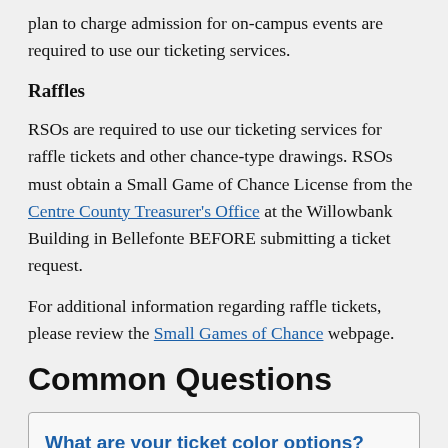plan to charge admission for on-campus events are required to use our ticketing services.
Raffles
RSOs are required to use our ticketing services for raffle tickets and other chance-type drawings. RSOs must obtain a Small Game of Chance License from the Centre County Treasurer's Office at the Willowbank Building in Bellefonte BEFORE submitting a ticket request.
For additional information regarding raffle tickets, please review the Small Games of Chance webpage.
Common Questions
What are your ticket color options? If I want a different color, is that possible?